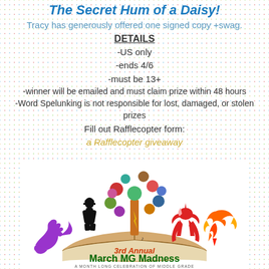The Secret Hum of a Daisy!
Tracy has generously offered one signed copy +swag.
DETAILS
-US only
-ends 4/6
-must be 13+
-winner will be emailed and must claim prize within 48 hours
-Word Spelunking is not responsible for lost, damaged, or stolen prizes
Fill out Rafflecopter form:
a Rafflecopter giveaway
[Figure (logo): 3rd Annual March MG Madness logo with fantasy creatures (dragon, bigfoot, unicorn, phoenix) around an open book with a colorful tree. Text: '3rd Annual March MG Madness - A Month Long Celebration of Middle Grade']